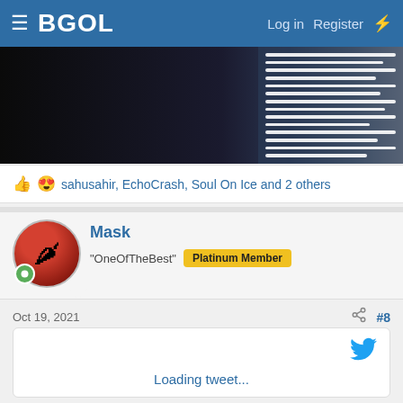≡ BGOL   Log in   Register   ⚡
[Figure (photo): Banner image showing dark background with white wrapped stripes/bandages on right side]
👍 😍 sahusahir, EchoCrash, Soul On Ice and 2 others
Mask
"OneOfTheBest"  Platinum Member
Oct 19, 2021
#8
[Figure (screenshot): Twitter embed card showing loading tweet with Twitter bird icon]